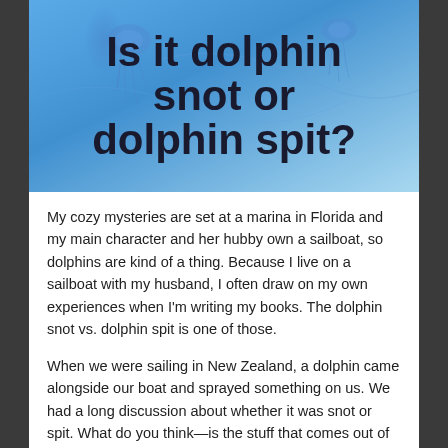[Figure (illustration): Blue ocean background with jellyfish silhouettes and bold dark text reading 'Is it dolphin snot or dolphin spit?']
My cozy mysteries are set at a marina in Florida and my main character and her hubby own a sailboat, so dolphins are kind of a thing. Because I live on a sailboat with my husband, I often draw on my own experiences when I'm writing my books. The dolphin snot vs. dolphin spit is one of those.
When we were sailing in New Zealand, a dolphin came alongside our boat and sprayed something on us. We had a long discussion about whether it was snot or spit. What do you think—is the stuff that comes out of a dolphin's blowhole snot or spit?